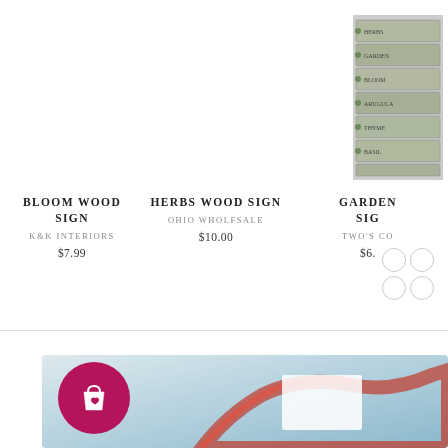[Figure (photo): Bloom Wood Sign product image (empty/white area)]
BLOOM WOOD SIGN
K&K INTERIORS
$7.99
[Figure (photo): Herbs Wood Sign product image (empty/white area)]
HERBS WOOD SIGN
OHIO WHOLFSALE
$10.00
[Figure (photo): Stack of binders/books product image at top right corner]
GARDEN SIG
TWO'S CO
$6.
[Figure (photo): Shopping bag with heart icon in magenta circle, with red ribbon/bow on light blue-grey gradient background]